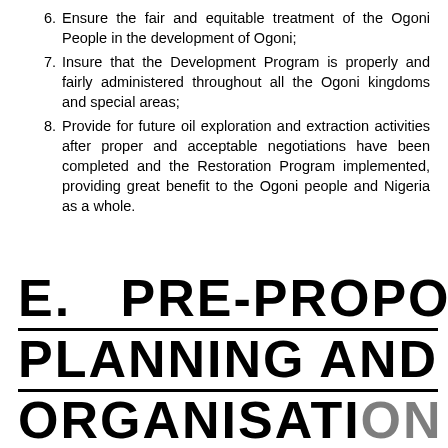6. Ensure the fair and equitable treatment of the Ogoni People in the development of Ogoni;
7. Insure that the Development Program is properly and fairly administered throughout all the Ogoni kingdoms and special areas;
8. Provide for future oil exploration and extraction activities after proper and acceptable negotiations have been completed and the Restoration Program implemented, providing great benefit to the Ogoni people and Nigeria as a whole.
E. PRE-PROPOSAL PLANNING AND ORGANISATION